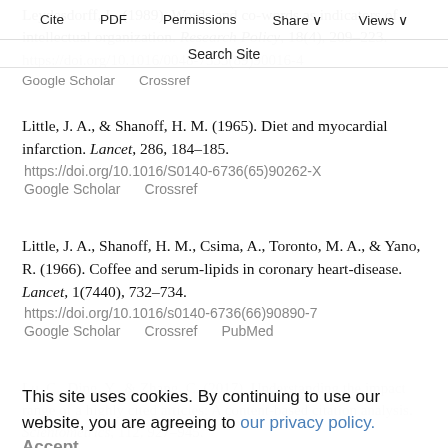Leydesdorff, L. (1989). Words and co-words as indicators of intellectual organization. Research Policy, 18(4), 209–223. https://doi.org/10.1016/0048-7333(89)90016-4
Google Scholar   Crossref
Cite   PDF   Permissions   Share   Views   Search Site
Little, J. A., & Shanoff, H. M. (1965). Diet and myocardial infarction. Lancet, 286, 184–185. https://doi.org/10.1016/S0140-6736(65)90262-X
Google Scholar   Crossref
Little, J. A., Shanoff, H. M., Csima, A., Toronto, M. A., & Yano, R. (1966). Coffee and serum-lipids in coronary heart-disease. Lancet, 1(7440), 732–734. https://doi.org/10.1016/s0140-6736(66)90890-7
Google Scholar   Crossref   PubMed
Lu, C., Ding, Y., & Zhang, C. (2017). Understanding the impact range of a highly cited articles: A content-based citation analysis. Scientometrics, 112, 927–945.
This site uses cookies. By continuing to use our website, you are agreeing to our privacy policy. Accept